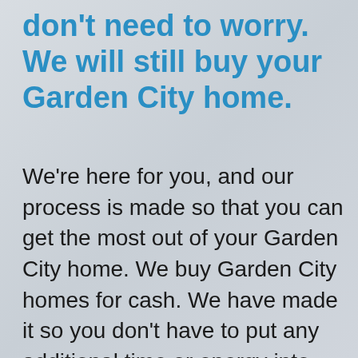don't need to worry. We will still buy your Garden City home.
We're here for you, and our process is made so that you can get the most out of your Garden City home. We buy Garden City homes for cash. We have made it so you don't have to put any additional time or energy into selling your